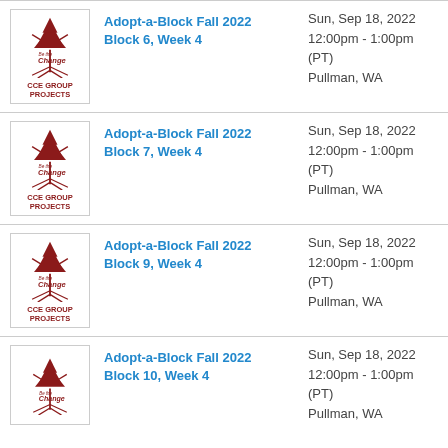[Figure (logo): CCE Group Projects - Be the Change logo with red tree illustration]
Adopt-a-Block Fall 2022 Block 6, Week 4
Sun, Sep 18, 2022 12:00pm - 1:00pm (PT) Pullman, WA
[Figure (logo): CCE Group Projects - Be the Change logo with red tree illustration]
Adopt-a-Block Fall 2022 Block 7, Week 4
Sun, Sep 18, 2022 12:00pm - 1:00pm (PT) Pullman, WA
[Figure (logo): CCE Group Projects - Be the Change logo with red tree illustration]
Adopt-a-Block Fall 2022 Block 9, Week 4
Sun, Sep 18, 2022 12:00pm - 1:00pm (PT) Pullman, WA
[Figure (logo): CCE Group Projects - Be the Change logo with red tree illustration]
Adopt-a-Block Fall 2022 Block 10, Week 4
Sun, Sep 18, 2022 12:00pm - 1:00pm (PT) Pullman, WA